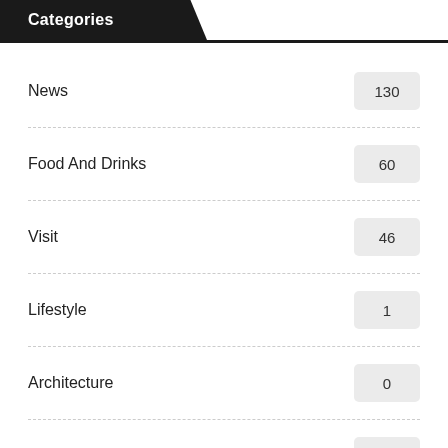Categories
News 130
Food And Drinks 60
Visit 46
Lifestyle 1
Architecture 0
Cars 0
© 2022 – WINDSOR GAZETTE. All Rights Reserved.